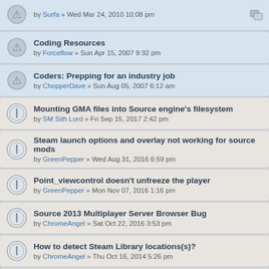by Surfa » Wed Mar 24, 2010 10:08 pm
Coding Resources
by Forceflow » Sun Apr 15, 2007 9:32 pm
Coders: Prepping for an industry job
by ChopperDave » Sun Aug 05, 2007 6:12 am
Mounting GMA files into Source engine's filesystem
by SM Sith Lord » Fri Sep 15, 2017 2:42 pm
Steam launch options and overlay not working for source mods
by GreenPepper » Wed Aug 31, 2016 6:59 pm
Point_viewcontrol doesn't unfreeze the player
by GreenPepper » Mon Nov 07, 2016 1:16 pm
Source 2013 Multiplayer Server Browser Bug
by ChromeAngel » Sat Oct 22, 2016 3:53 pm
How to detect Steam Library locations(s)?
by ChromeAngel » Thu Oct 16, 2014 5:26 pm
Those Simple "Source Programming Questions" Thread...
by stoopdapoop » Sat Jun 02, 2012 10:42 am
What ever happened to blinking NPCs?